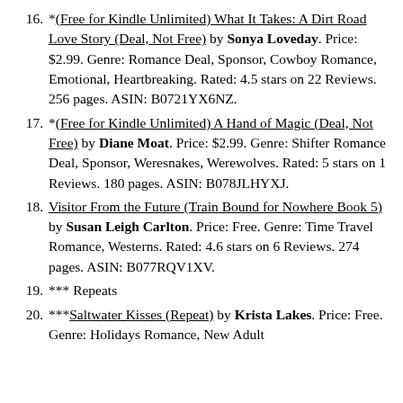*(Free for Kindle Unlimited) What It Takes: A Dirt Road Love Story (Deal, Not Free) by Sonya Loveday. Price: $2.99. Genre: Romance Deal, Sponsor, Cowboy Romance, Emotional, Heartbreaking. Rated: 4.5 stars on 22 Reviews. 256 pages. ASIN: B0721YX6NZ.
*(Free for Kindle Unlimited) A Hand of Magic (Deal, Not Free) by Diane Moat. Price: $2.99. Genre: Shifter Romance Deal, Sponsor, Weresnakes, Werewolves. Rated: 5 stars on 1 Reviews. 180 pages. ASIN: B078JLHYXJ.
Visitor From the Future (Train Bound for Nowhere Book 5) by Susan Leigh Carlton. Price: Free. Genre: Time Travel Romance, Westerns. Rated: 4.6 stars on 6 Reviews. 274 pages. ASIN: B077RQV1XV.
*** Repeats
***Saltwater Kisses (Repeat) by Krista Lakes. Price: Free. Genre: Holidays Romance, New Adult